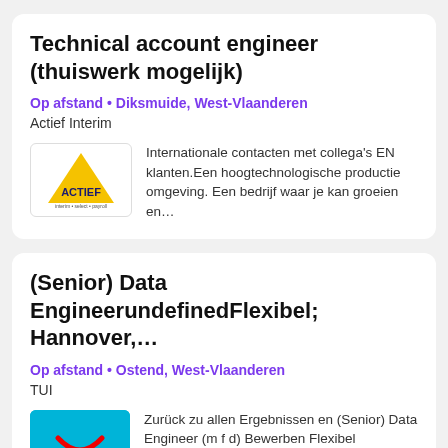Technical account engineer (thuiswerk mogelijk)
Op afstand • Diksmuide, West-Vlaanderen
Actief Interim
[Figure (logo): Actief Interim logo — yellow triangle with ACTIEF text]
Internationale contacten met collega's EN klanten.Een hoogtechnologische productie omgeving. Een bedrijf waar je kan groeien en...
(Senior) Data EngineerundefinedFlexibel; Hannover,...
Op afstand • Ostend, West-Vlaanderen
TUI
[Figure (logo): TUI logo — white TUI text with red smile icon on cyan background]
Zurück zu allen Ergebnissen en (Senior) Data Engineer (m f d) Bewerben Flexibel Hannover, Deutschland Luton, Vereinigtes Königreich...